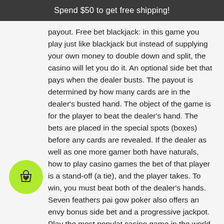Spend $50 to get free shipping!
payout. Free bet blackjack: in this game you play just like blackjack but instead of supplying your own money to double down and split, the casino will let you do it. An optional side bet that pays when the dealer busts. The payout is determined by how many cards are in the dealer's busted hand. The object of the game is for the player to beat the dealer's hand. The bets are placed in the special spots (boxes) before any cards are revealed. If the dealer as well as one more gamer both have naturals, how to play casino games the bet of that player is a stand-off (a tie), and the player takes. To win, you must beat both of the dealer's hands. Seven feathers pai gow poker also offers an envy bonus side bet and a progressive jackpot. Play the most populat casino game in the world blackjack! free to play, no coins needed! beat the dealer by striking 21. It is
[Figure (illustration): Green circular cart/shopping bag icon with a heart symbol, positioned in lower left area]